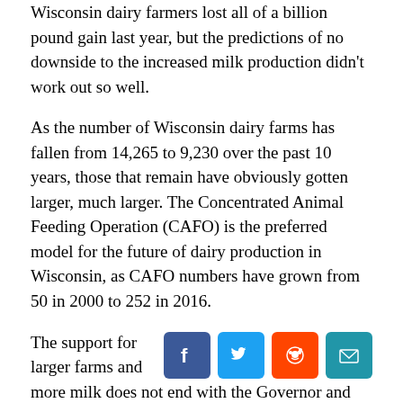Wisconsin dairy farmers lost all of a billion pound gain last year, but the predictions of no downside to the increased milk production didn't work out so well.
As the number of Wisconsin dairy farms has fallen from 14,265 to 9,230 over the past 10 years, those that remain have obviously gotten larger, much larger. The Concentrated Animal Feeding Operation (CAFO) is the preferred model for the future of dairy production in Wisconsin, as CAFO numbers have grown from 50 in 2000 to 252 in 2016.
The support for larger farms and more milk does not end with the Governor and Wisconsin Legislature. The Wisconsin Department of Natural Resources (DNR) seems to be very interested in being a partner to large scale farms, not that that is totally wrong, but after the partnering it's time to ensure environmental protection standards are followed.